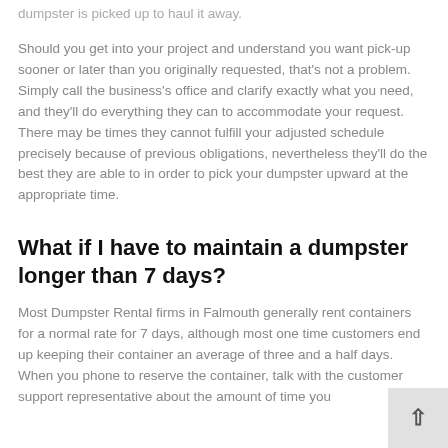dumpster is picked up to haul it away.
Should you get into your project and understand you want pick-up sooner or later than you originally requested, that's not a problem. Simply call the business's office and clarify exactly what you need, and they'll do everything they can to accommodate your request. There may be times they cannot fulfill your adjusted schedule precisely because of previous obligations, nevertheless they'll do the best they are able to in order to pick your dumpster upward at the appropriate time.
What if I have to maintain a dumpster longer than 7 days?
Most Dumpster Rental firms in Falmouth generally rent containers for a normal rate for 7 days, although most one time customers end up keeping their container an average of three and a half days. When you phone to reserve the container, talk with the customer support representative about the amount of time you